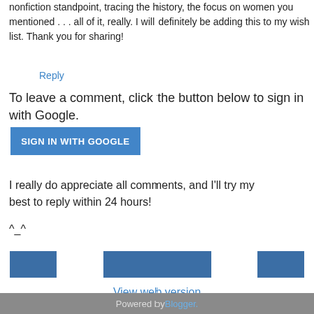nonfiction standpoint, tracing the history, the focus on women you mentioned . . . all of it, really. I will definitely be adding this to my wish list. Thank you for sharing!
Reply
To leave a comment, click the button below to sign in with Google.
SIGN IN WITH GOOGLE
I really do appreciate all comments, and I'll try my best to reply within 24 hours!
^_^
[Figure (other): Three blue navigation buttons arranged horizontally]
View web version
Powered by Blogger.